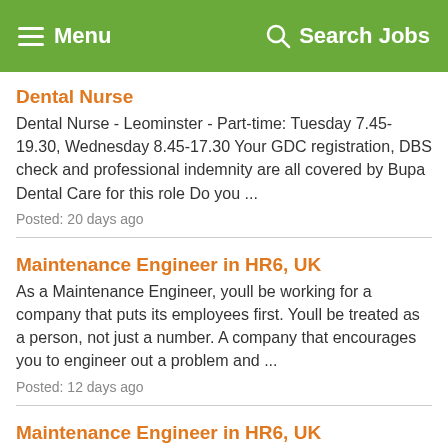Menu   Search Jobs
Dental Nurse
Dental Nurse - Leominster - Part-time: Tuesday 7.45-19.30, Wednesday 8.45-17.30 Your GDC registration, DBS check and professional indemnity are all covered by Bupa Dental Care for this role Do you ...
Posted: 20 days ago
Maintenance Engineer in HR6, UK
As a Maintenance Engineer, youll be working for a company that puts its employees first. Youll be treated as a person, not just a number. A company that encourages you to engineer out a problem and ...
Posted: 12 days ago
Maintenance Engineer in HR6, UK